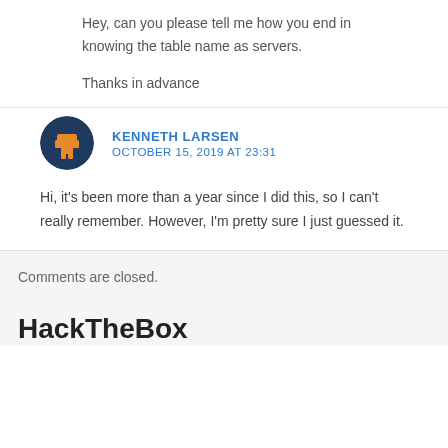Hey, can you please tell me how you end in knowing the table name as servers.
Thanks in advance
KENNETH LARSEN
OCTOBER 15, 2019 AT 23:31
Hi, it's been more than a year since I did this, so I can't really remember. However, I'm pretty sure I just guessed it.
Comments are closed.
HackTheBox